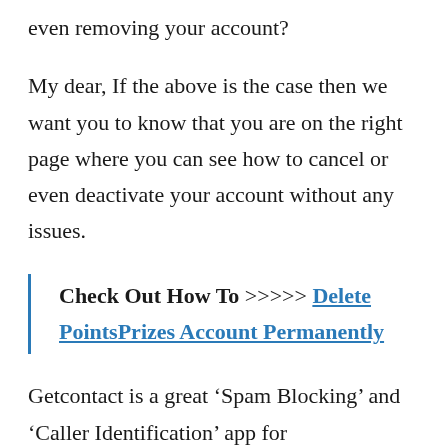even removing your account?
My dear, If the above is the case then we want you to know that you are on the right page where you can see how to cancel or even deactivate your account without any issues.
Check Out How To >>>>> Delete PointsPrizes Account Permanently
Getcontact is a great ‘Spam Blocking’ and ‘Caller Identification’ app for